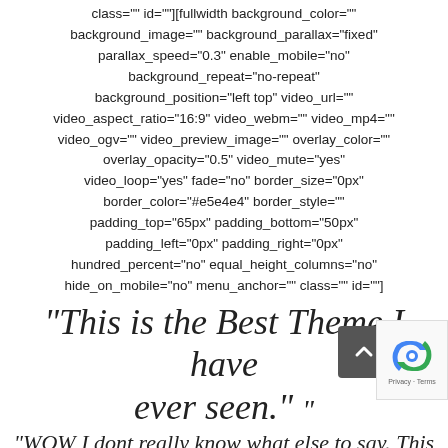class="" id=""][fullwidth background_color="" background_image="" background_parallax="fixed" parallax_speed="0.3" enable_mobile="no" background_repeat="no-repeat" background_position="left top" video_url="" video_aspect_ratio="16:9" video_webm="" video_mp4="" video_ogv="" video_preview_image="" overlay_color="" overlay_opacity="0.5" video_mute="yes" video_loop="yes" fade="no" border_size="0px" border_color="#e5e4e4" border_style="" padding_top="65px" padding_bottom="50px" padding_left="0px" padding_right="0px" hundred_percent="no" equal_height_columns="no" hide_on_mobile="no" menu_anchor="" class="" id=""]
"This is the Best Theme I have ever seen."
"WOW I dont really know what else to say. This is the